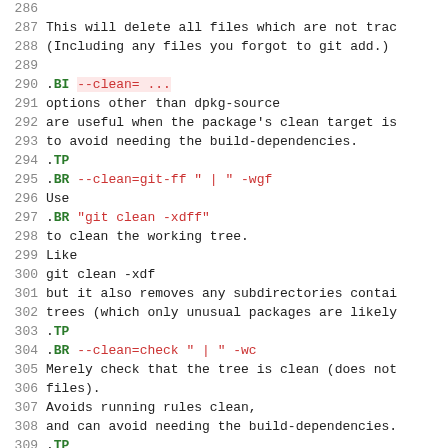Source code / man page excerpt, lines 286-315
286 (blank)
287 This will delete all files which are not trac
288 (Including any files you forgot to git add.)
289 (blank)
290 .BI --clean= ...
291 options other than dpkg-source
292 are useful when the package's clean target is
293 to avoid needing the build-dependencies.
294 .TP
295 .BR --clean=git-ff " | " -wgf
296 Use
297 .BR "git clean -xdff"
298 to clean the working tree.
299 Like
300 git clean -xdf
301 but it also removes any subdirectories contai
302 trees (which only unusual packages are likely
303 .TP
304 .BR --clean=check " | " -wc
305 Merely check that the tree is clean (does not
306 files).
307 Avoids running rules clean,
308 and can avoid needing the build-dependencies.
309 .TP
310 .BR --clean=none " | " -wn
311 Do not clean the tree, nor check that it is c
312 Avoids running rules clean,
313 and can avoid needing the build-dependencies.
314 If there are
315 files which are not in git, or if the build c